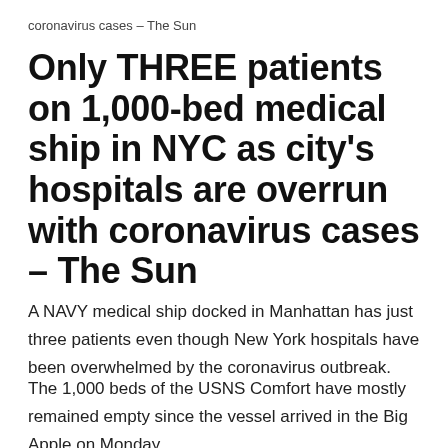coronavirus cases – The Sun
Only THREE patients on 1,000-bed medical ship in NYC as city's hospitals are overrun with coronavirus cases – The Sun
A NAVY medical ship docked in Manhattan has just three patients even though New York hospitals have been overwhelmed by the coronavirus outbreak.
The 1,000 beds of the USNS Comfort have mostly remained empty since the vessel arrived in the Big Apple on Monday.